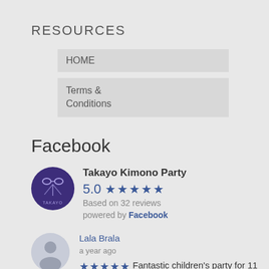RESOURCES
HOME
Terms & Conditions
Facebook
Takayo Kimono Party
5.0 ★★★★★
Based on 32 reviews
powered by Facebook
Lala Brala
a year ago
★★★★★ Fantastic children's party for 11 year olds! They loved the combination of history and cultural info about Japan, the... read more